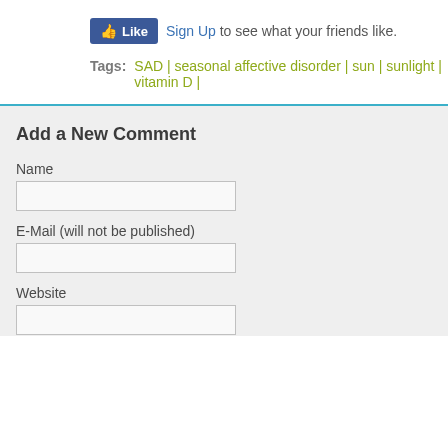[Figure (other): Facebook Like button with thumbs up icon and blue background]
Sign Up to see what your friends like.
Tags:   SAD | seasonal affective disorder | sun | sunlight | vitamin D |
Add a New Comment
Name
E-Mail (will not be published)
Website